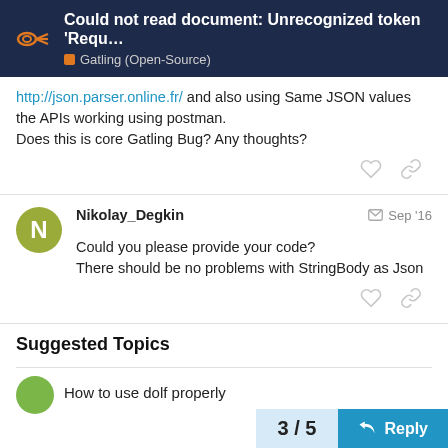Could not read document: Unrecognized token 'Requ… | Gatling (Open-Source)
http://json.parser.online.fr/ and also using Same JSON values the APIs working using postman.
Does this is core Gatling Bug? Any thoughts?
Nikolay_Degkin  Sep '16
Could you please provide your code?
There should be no problems with StringBody as Json
Suggested Topics
How to use dolf properly
3 / 5